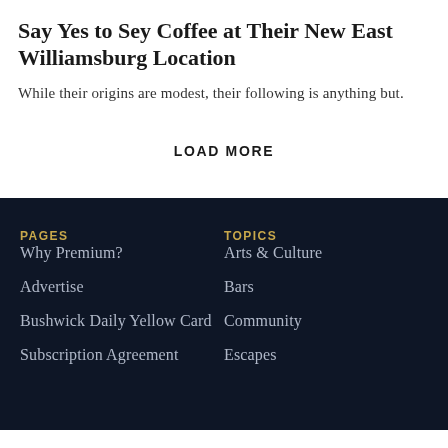Say Yes to Sey Coffee at Their New East Williamsburg Location
While their origins are modest, their following is anything but.
LOAD MORE
PAGES
TOPICS
Why Premium?
Arts & Culture
Advertise
Bars
Bushwick Daily Yellow Card
Community
Subscription Agreement
Escapes